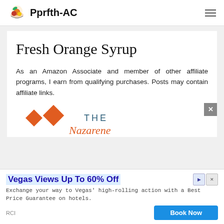Pprfth-AC
Fresh Orange Syrup
As an Amazon Associate and member of other affiliate programs, I earn from qualifying purchases. Posts may contain affiliate links.
[Figure (logo): The Nazarene logo — orange geometric shape with text 'THE Nazarene']
Vegas Views Up To 60% Off
Exchange your way to Vegas' high-rolling action with a Best Price Guarantee on hotels.
RCI
Book Now